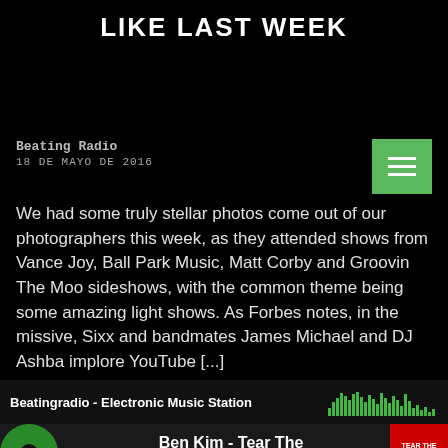LIKE LAST WEEK
Beating Radio
18 DE MAYO DE 2016
We had some truly stellar photos come out of our photographers this week, as they attended shows from Vance Joy, Ball Park Music, Matt Corby and Groovin The Moo sideshows, with the common theme being some amazing light shows. As Forbes notes, in the missive, Sixx and bandmates James Michael and DJ Ashba implore YouTube [...]
Beatingradio - Electronic Music Station
Ben Kim - Tear The Club Up